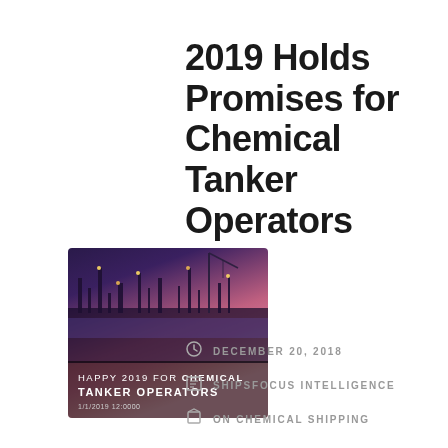2019 Holds Promises for Chemical Tanker Operators
[Figure (photo): Book or report cover showing an industrial port/refinery at night with colorful sky, titled 'HAPPY 2019 FOR CHEMICAL TANKER OPERATORS']
DECEMBER 20, 2018
SHIPSFOCUS INTELLIGENCE
ON CHEMICAL SHIPPING